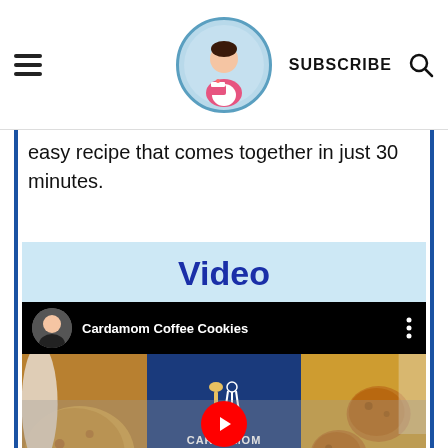SUBSCRIBE
easy recipe that comes together in just 30 minutes.
Video
[Figure (screenshot): YouTube video embed showing 'Cardamom Coffee Cookies' with avatar, title bar, and thumbnail with play button overlay. Thumbnail shows cookies on left and right, center panel has dark blue background with crossed utensil logo and text CARDAMOM COFFEE COOKIES.]